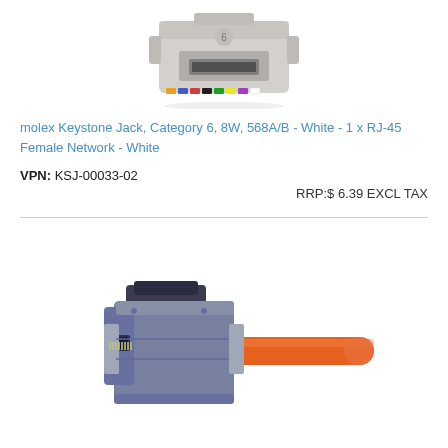[Figure (photo): Molex white keystone jack RJ-45 connector, light grey/beige plastic housing with category 6 label, viewed from the front/top angle]
molex Keystone Jack, Category 6, 8W, 568A/B - White - 1 x RJ-45 Female Network - White
VPN: KSJ-00033-02
RRP:$ 6.39 EXCL TAX
[Figure (photo): Metallic shielded keystone jack/connector with an orange ethernet/network cable attached, viewed from a three-quarter angle]